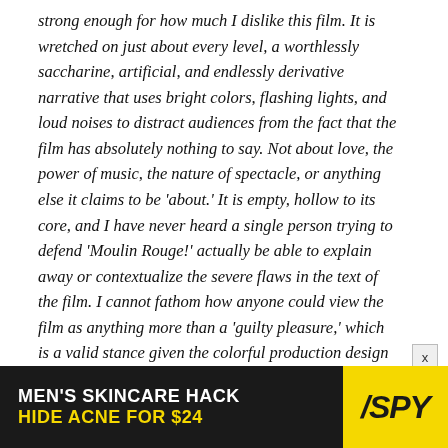strong enough for how much I dislike this film. It is wretched on just about every level, a worthlessly saccharine, artificial, and endlessly derivative narrative that uses bright colors, flashing lights, and loud noises to distract audiences from the fact that the film has absolutely nothing to say. Not about love, the power of music, the nature of spectacle, or anything else it claims to be 'about.' It is empty, hollow to its core, and I have never heard a single person trying to defend 'Moulin Rouge!' actually be able to explain away or contextualize the severe flaws in the text of the film. I cannot fathom how anyone could view the film as anything more than a 'guilty pleasure,' which is a valid stance given the colorful production design and jukebox musical hurricane.
[Figure (other): Advertisement banner for SPY magazine: 'MEN'S SKINCARE HACK HIDE ACNE FOR $24' with yellow SPY logo on dark background]